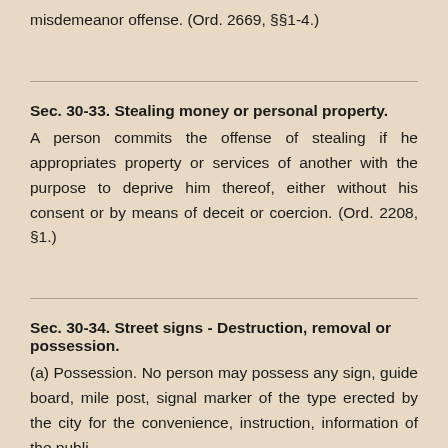misdemeanor offense. (Ord. 2669, §§1-4.)
Sec. 30-33. Stealing money or personal property.
A person commits the offense of stealing if he appropriates property or services of another with the purpose to deprive him thereof, either without his consent or by means of deceit or coercion. (Ord. 2208, §1.)
Sec. 30-34. Street signs - Destruction, removal or possession.
(a) Possession. No person may possess any sign, guide board, mile post, signal marker of the type erected by the city for the convenience, instruction, information of the public...